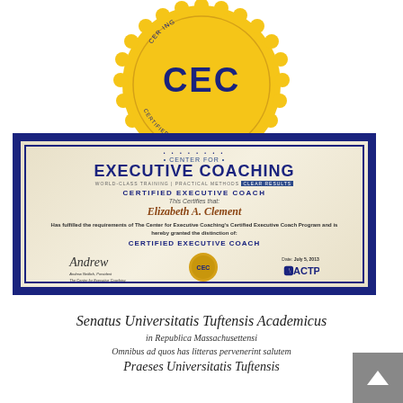[Figure (illustration): Gold CEC (Certified Executive Coach) seal/badge with scalloped edges, featuring the text CEC in large navy letters and 'CERTIFIED EXECUTIVE COACH' around the border]
[Figure (photo): Certificate from Center for Executive Coaching awarded to Elizabeth A. Clement, certifying her as a Certified Executive Coach. Features blue decorative border, Center for Executive Coaching logo, text 'This Certifies that: Elizabeth A. Clement Has fulfilled the requirements of The Center for Executive Coaching's Certified Executive Coach Program and is hereby granted the distinction of: CERTIFIED EXECUTIVE COACH', with signature, date July 5, 2013, gold CEC seal, and ACTP logo.]
[Figure (photo): Partial view of a Latin university diploma from Senatus Universitatis Tuftensis Academicus (Tufts University), in Republic Massachusetts, with ornate calligraphic text including 'Senatus Universitatis Tuftensis Academicus', 'in Republica Massachusettensi', 'Omnibus ad quos has litteras pervenerint salutem', 'Praeses Universitatis Tuftensis']